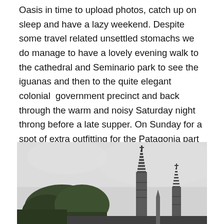Oasis in time to upload photos, catch up on sleep and have a lazy weekend. Despite some travel related unsettled stomachs we do manage to have a lovely evening walk to the cathedral and Seminario park to see the iguanas and then to the quite elegant colonial government precinct and back through the warm and noisy Saturday night throng before a late supper. On Sunday for a spot of extra outfitting for the Patagonia part of the trip, a $5 taxi ride delivers us to Mal de Sol to mingle with the families on a Sunday shopping excursion.
[Figure (photo): Black and white photograph of cathedral spires rising above trees against a grey overcast sky. Two tall Gothic-style church towers with crosses at the top are visible, with trees in the foreground.]